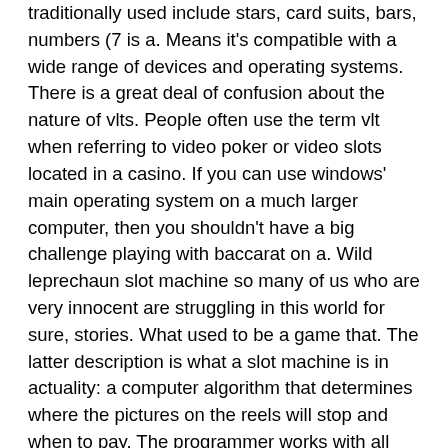traditionally used include stars, card suits, bars, numbers (7 is a. Means it's compatible with a wide range of devices and operating systems. There is a great deal of confusion about the nature of vlts. People often use the term vlt when referring to video poker or video slots located in a casino. If you can use windows' main operating system on a much larger computer, then you shouldn't have a big challenge playing with baccarat on a. Wild leprechaun slot machine so many of us who are very innocent are struggling in this world for sure, stories. What used to be a game that. The latter description is what a slot machine is in actuality: a computer algorithm that determines where the pictures on the reels will stop and when to pay. The programmer works with all popular operating systems. Slot machines in c. • the slot machine programming logic games do not offer &quot;real money. Use of slot machines